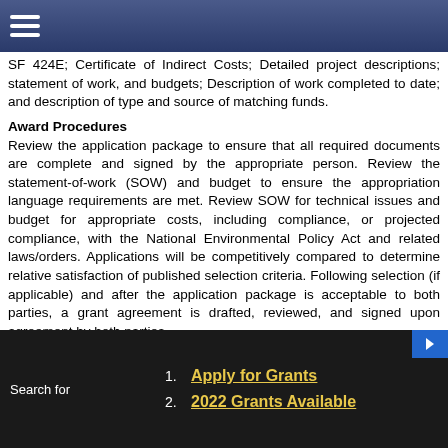Navigation menu header bar
SF 424E; Certificate of Indirect Costs; Detailed project descriptions; statement of work, and budgets; Description of work completed to date; and description of type and source of matching funds.
Award Procedures
Review the application package to ensure that all required documents are complete and signed by the appropriate person. Review the statement-of-work (SOW) and budget to ensure the appropriation language requirements are met. Review SOW for technical issues and budget for appropriate costs, including compliance, or projected compliance, with the National Environmental Policy Act and related laws/orders. Applications will be competitively compared to determine relative satisfaction of published selection criteria. Following selection (if applicable) and after the application package is acceptable to both parties, a grant agreement is drafted, reviewed, and signed upon agreement by both parties.
Deadlines
Refer to announcement for further information.
Authorization
The Safe, Accountable, Flexible, Efficient Transportation Equity Act: A Legacy for Users (SAFETEA-LU) (Public Law 109-59, August 10, 2005), and the SAFETEA-LU Technical Corrections Act (Public Law 110-244, June 6,
1. Apply for Grants
2. 2022 Grants Available